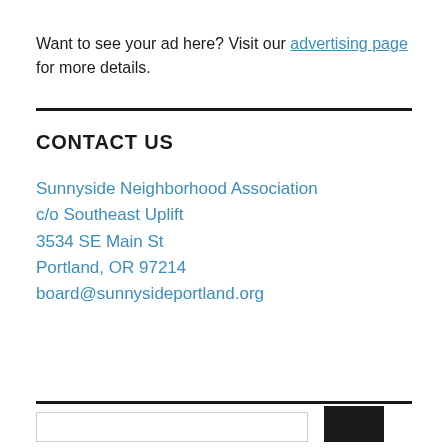Want to see your ad here?  Visit our advertising page for more details.
CONTACT US
Sunnyside Neighborhood Association
c/o Southeast Uplift
3534 SE Main St
Portland, OR 97214
board@sunnysideportland.org